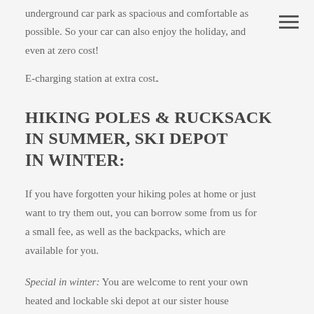underground car park as spacious and comfortable as possible. So your car can also enjoy the holiday, and even at zero cost!
E-charging station at extra cost.
HIKING POLES & RUCKSACK IN SUMMER, SKI DEPOT IN WINTER:
If you have forgotten your hiking poles at home or just want to try them out, you can borrow some from us for a small fee, as well as the backpacks, which are available for you.
Special in winter: You are welcome to rent your own heated and lockable ski depot at our sister house